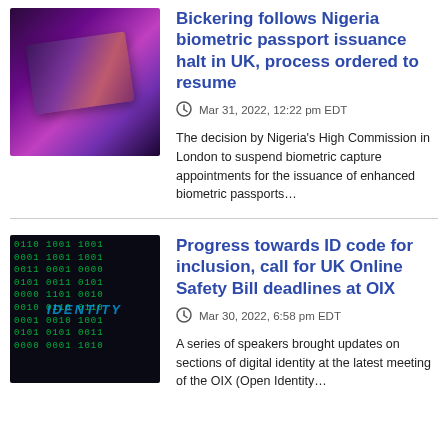[Figure (photo): Close-up photo of a Nigerian biometric passport under purple/pink UV light]
Bickering follows Nigeria biometric passport issuance halt in UK, process ordered to resume
Mar 31, 2022, 12:22 pm EDT
The decision by Nigeria's High Commission in London to suspend biometric capture appointments for the issuance of enhanced biometric passports...
[Figure (photo): Close-up photo of binary code on a dark background with IDENTITY text overlay in blue]
Progress towards ID code for inclusion, call for UK Online Safety Bill deadlines at OIX
Mar 30, 2022, 6:58 pm EDT
A series of speakers brought updates on sections of digital identity at the latest meeting of the OIX (Open Identity...